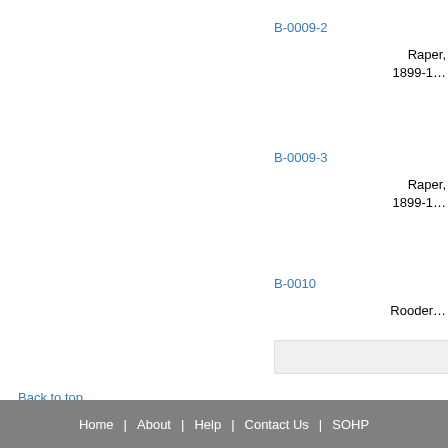B-0009-2
Raper, 1899-1...
B-0009-3
Raper, 1899-1...
B-0010
Rooder...
Back to top
Home | About | Help | Contact Us | SOHP